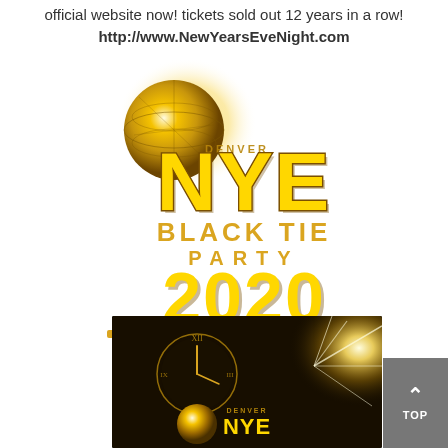official website now! tickets sold out 12 years in a row! http://www.NewYearsEveNight.com
[Figure (logo): Denver NYE Black Tie Party 2020 logo with golden 3D text and gold globe/ball drop graphic on white background]
[Figure (photo): Denver NYE event promotional photo showing a gold clock and ball drop with sparkler light burst on dark background]